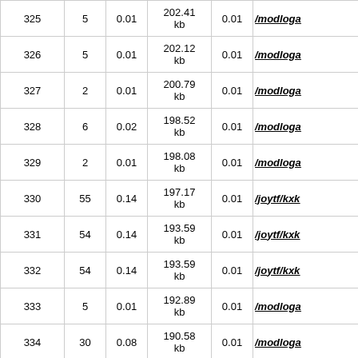| 325 | 5 | 0.01 | 202.41 kb | 0.01 | /modloga... |
| 326 | 5 | 0.01 | 202.12 kb | 0.01 | /modloga... |
| 327 | 2 | 0.01 | 200.79 kb | 0.01 | /modloga... |
| 328 | 6 | 0.02 | 198.52 kb | 0.01 | /modloga... |
| 329 | 2 | 0.01 | 198.08 kb | 0.01 | /modloga... |
| 330 | 55 | 0.14 | 197.17 kb | 0.01 | /joytf/kxk... |
| 331 | 54 | 0.14 | 193.59 kb | 0.01 | /joytf/kxk... |
| 332 | 54 | 0.14 | 193.59 kb | 0.01 | /joytf/kxk... |
| 333 | 5 | 0.01 | 192.89 kb | 0.01 | /modloga... |
| 334 | 30 | 0.08 | 190.58 kb | 0.01 | /modloga... |
| 335 | 53 | 0.14 | 190.00 kb | 0.01 | /joytf/kxk... |